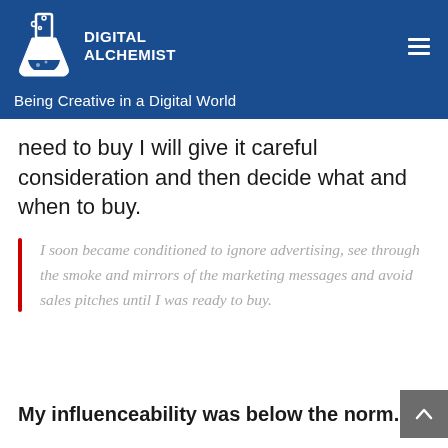[Figure (logo): Digital Alchemist logo with a white flask/beaker icon and text 'DIGITAL ALCHEMIST' on a blue background, with tagline 'Being Creative in a Digital World']
need to buy I will give it careful consideration and then decide what and when to buy.
I soon became conditioned to ignore advertising, see through the smoke and mirrors of the marketing messages and avoid sales pitches until I was ready to buy.
My influenceability was below the norm.